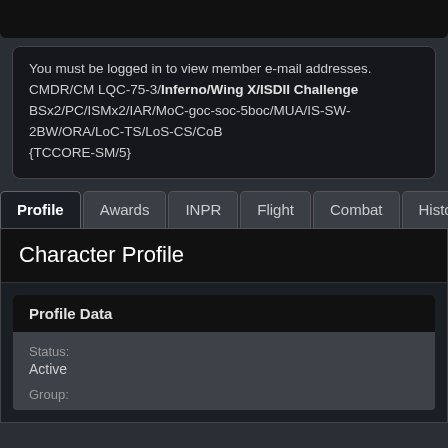You must be logged in to view member e-mail addresses. CMDR/CM LQC-75-3/Inferno/Wing X/ISDII Challenge BSx2/PC/ISMx2/IAR/MoC-goc-soc-5boc/MUA/IS-SW-2BW/ORA/LoC-TS/LoS-CS/CoB {TCCORE-SM/5}
Profile | Awards | INPR | Flight | Combat | Historic | Activit
Character Profile
Profile Data
Status:
Active
Group: